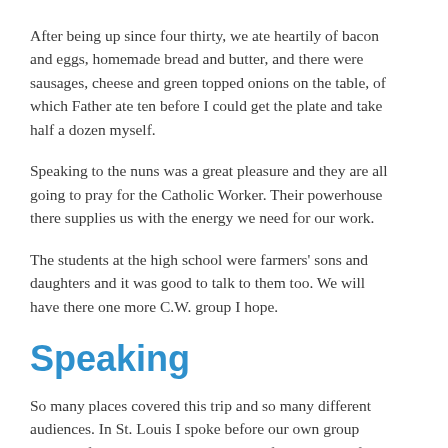him to do.
After being up since four thirty, we ate heartily of bacon and eggs, homemade bread and butter, and there were sausages, cheese and green topped onions on the table, of which Father ate ten before I could get the plate and take half a dozen myself.
Speaking to the nuns was a great pleasure and they are all going to pray for the Catholic Worker. Their powerhouse there supplies us with the energy we need for our work.
The students at the high school were farmers' sons and daughters and it was good to talk to them too. We will have there one more C.W. group I hope.
Speaking
So many places covered this trip and so many different audiences. In St. Louis I spoke before our own group twice, before several High Schools, before a group of nuns in a...